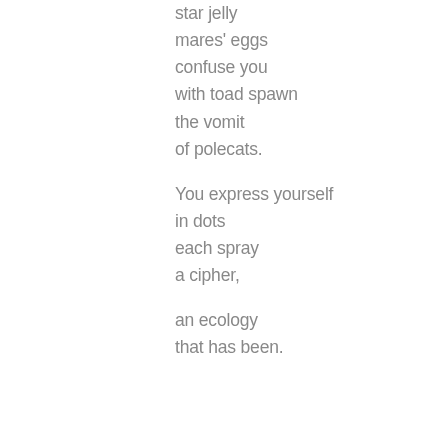star jelly
mares' eggs
confuse you
with toad spawn
the vomit
of polecats.

You express yourself
in dots
each spray
a cipher,

an ecology
that has been.